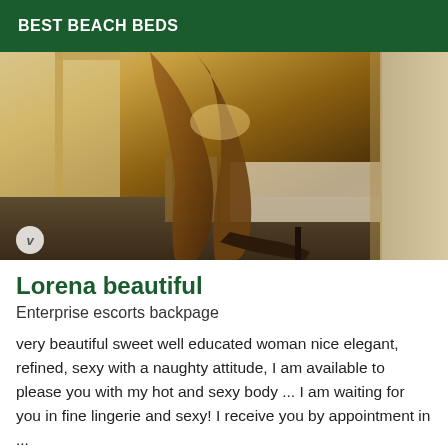BEST BEACH BEDS
[Figure (photo): Indoor photograph showing legs in high heels near a doorway with a bed visible in the background, warm yellow lighting, watermark 'v' visible in lower left corner]
Lorena beautiful
Enterprise escorts backpage
very beautiful sweet well educated woman nice elegant, refined, sexy with a naughty attitude, I am available to please you with my hot and sexy body ... I am waiting for you in fine lingerie and sexy! I receive you by appointment in ...